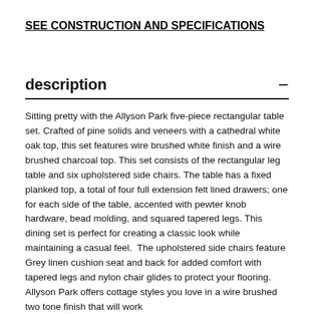SEE CONSTRUCTION AND SPECIFICATIONS
description
Sitting pretty with the Allyson Park five-piece rectangular table set. Crafted of pine solids and veneers with a cathedral white oak top, this set features wire brushed white finish and a wire brushed charcoal top. This set consists of the rectangular leg table and six upholstered side chairs. The table has a fixed planked top, a total of four full extension felt lined drawers; one for each side of the table, accented with pewter knob hardware, bead molding, and squared tapered legs. This dining set is perfect for creating a classic look while maintaining a casual feel.  The upholstered side chairs feature Grey linen cushion seat and back for added comfort with tapered legs and nylon chair glides to protect your flooring. Allyson Park offers cottage styles you love in a wire brushed two tone finish that will work